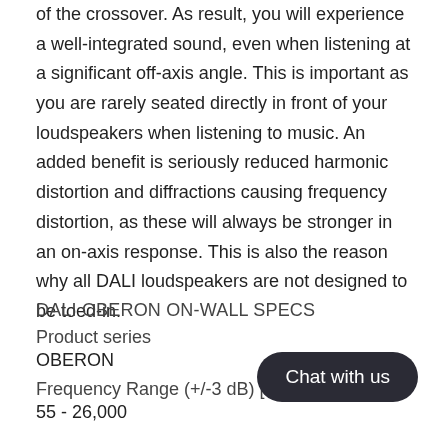of the crossover. As result, you will experience a well-integrated sound, even when listening at a significant off-axis angle. This is important as you are rarely seated directly in front of your loudspeakers when listening to music. An added benefit is seriously reduced harmonic distortion and diffractions causing frequency distortion, as these will always be stronger in an on-axis response. This is also the reason why all DALI loudspeakers are not designed to be toed-in.
DALI OBERON ON-WALL SPECS
Product series
OBERON
Frequency Range (+/-3 dB) [Hz]
55 - 26,000